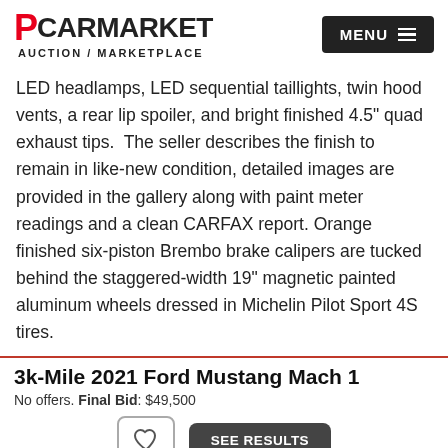PCARMARKET AUCTION / MARKETPLACE
LED headlamps, LED sequential taillights, twin hood vents, a rear lip spoiler, and bright finished 4.5" quad exhaust tips.  The seller describes the finish to remain in like-new condition, detailed images are provided in the gallery along with paint meter readings and a clean CARFAX report. Orange finished six-piston Brembo brake calipers are tucked behind the staggered-width 19" magnetic painted aluminum wheels dressed in Michelin Pilot Sport 4S tires.
3k-Mile 2021 Ford Mustang Mach 1
No offers. Final Bid: $49,500